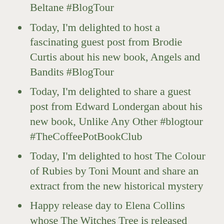Beltane #BlogTour
Today, I'm delighted to host a fascinating guest post from Brodie Curtis about his new book, Angels and Bandits #BlogTour
Today, I'm delighted to share a guest post from Edward Londergan about his new book, Unlike Any Other #blogtour #TheCoffeePotBookClub
Today, I'm delighted to host The Colour of Rubies by Toni Mount and share an extract from the new historical mystery
Happy release day to Elena Collins whose The Witches Tree is released today. Here's my review.
I'm delighted to spotlight The Mesilla by Mary Armstrong on the blog today #BlogTour